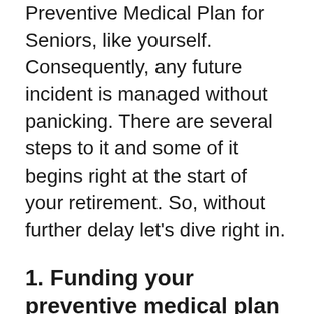Preventive Medical Plan for Seniors, like yourself. Consequently, any future incident is managed without panicking. There are several steps to it and some of it begins right at the start of your retirement. So, without further delay let's dive right in.
1. Funding your preventive medical plan
Above all, we desperately want to assume that our health insurance will take care of major health expenses that are to come in this age. However, for those of you who are not covered